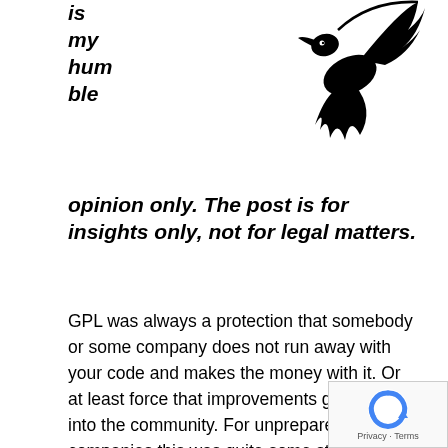is my humble opinion only. The post is for insights only, not for legal matters.
[Figure (illustration): Black silhouette illustration of a dragon or phoenix-like creature with spread wings and flowing tail]
GPL was always a protection that somebody or some company does not run away with your code and makes the money with it. Or at least force that improvements get back into the community. For unprepared companies this was quite some stress when they were forced to give their software away. Now we have host-kernels-languages such as OpenCL, CUDA, DirectCompute, RenderScript don't really link a kernel, but load it and launch it. As GPL is quite complicated if it comes to mixing with commercial code, I try to give a warning that GPL might not be prepared for this.